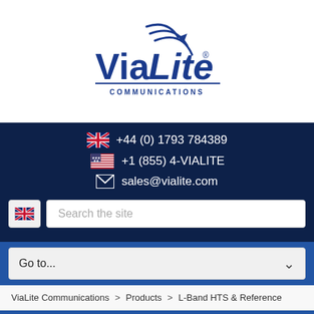[Figure (logo): ViaLite Communications logo - blue text with stylized satellite dish graphic above, 'COMMUNICATIONS' subtitle below]
+44 (0) 1793 784389
+1 (855) 4-VIALITE
sales@vialite.com
Search the site
Go to...
ViaLite Communications > Products > L-Band HTS & Reference
Our website uses anonymous cookies to generate statistics. If you have any concerns about this, you can find more information on our Cookies page.